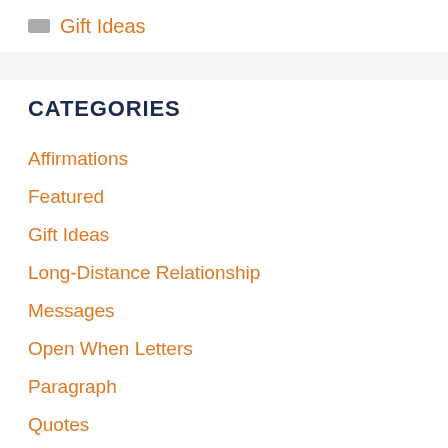Gift Ideas
CATEGORIES
Affirmations
Featured
Gift Ideas
Long-Distance Relationship
Messages
Open When Letters
Paragraph
Quotes
Relationship Advice